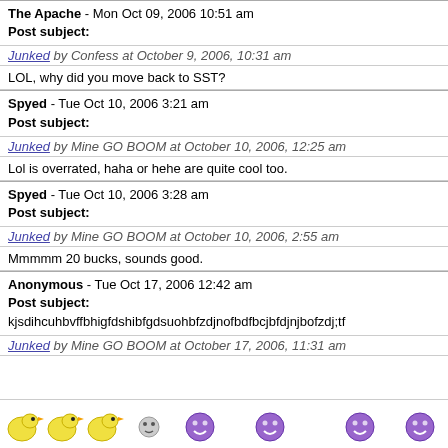The Apache - Mon Oct 09, 2006 10:51 am
Post subject:
Junked by Confess at October 9, 2006, 10:31 am
LOL, why did you move back to SST?
Spyed - Tue Oct 10, 2006 3:21 am
Post subject:
Junked by Mine GO BOOM at October 10, 2006, 12:25 am
Lol is overrated, haha or hehe are quite cool too.
Spyed - Tue Oct 10, 2006 3:28 am
Post subject:
Junked by Mine GO BOOM at October 10, 2006, 2:55 am
Mmmmm 20 bucks, sounds good.
Anonymous - Tue Oct 17, 2006 12:42 am
Post subject:
kjsdihcuhbvffbhigfdshibfgdsuohbfzdjnofbdfbcjbfdjnjbofzdj;tf
Junked by Mine GO BOOM at October 17, 2006, 11:31 am
[Figure (illustration): Row of emoji icons: yellow duck-like emojis on the left, purple smiley face emojis on the right]